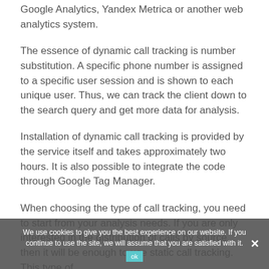Google Analytics, Yandex Metrica or another web analytics system.
The essence of dynamic call tracking is number substitution. A specific phone number is assigned to a specific user session and is shown to each unique user. Thus, we can track the client down to the search query and get more data for analysis.
Installation of dynamic call tracking is provided by the service itself and takes approximately two hours. It is also possible to integrate the code through Google Tag Manager.
When choosing the type of call tracking, you need to start from your analysis needs. If you are only interested in the distribution of calls by source, then it will be enough to use static call tracking. This type of
We use cookies to give you the best experience on our website. If you continue to use the site, we will assume that you are satisfied with it.